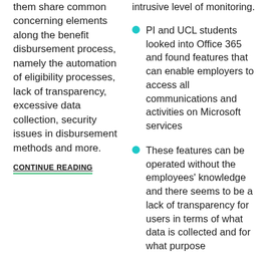them share common concerning elements along the benefit disbursement process, namely the automation of eligibility processes, lack of transparency, excessive data collection, security issues in disbursement methods and more.
CONTINUE READING
intrusive level of monitoring.
PI and UCL students looked into Office 365 and found features that can enable employers to access all communications and activities on Microsoft services
These features can be operated without the employees' knowledge and there seems to be a lack of transparency for users in terms of what data is collected and for what purpose